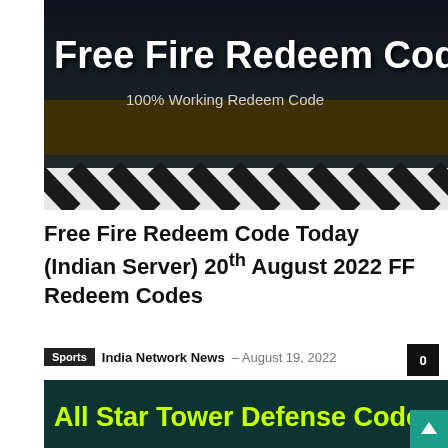[Figure (illustration): Free Fire Redeem Code banner with dark blue/military themed background, large white text 'Free Fire Redeem Code' and subtitle '100% Working Redeem Code', diagonal stripe pattern at bottom]
Free Fire Redeem Code Today (Indian Server) 20th August 2022 FF Redeem Codes
Sports  India Network News  –  August 19, 2022   0
Free Fire Redeem Codes Today Indian Server 20 August 2022:-
...
[Figure (illustration): All Star Tower Defense Codes banner with dark teal background and yellow-green outlined bold text]